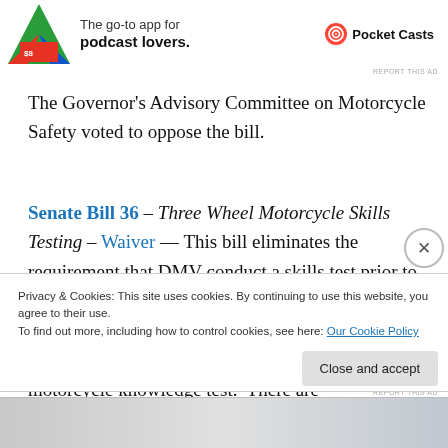[Figure (other): Advertisement banner for Pocket Casts podcast app with logo and tagline 'The go-to app for podcast lovers.']
REPORT THIS AD
The Governor's Advisory Committee on Motorcycle Safety voted to oppose the bill.
Senate Bill 36 – Three Wheel Motorcycle Skills Testing – Waiver — This bill eliminates the requirement that DMV conduct a skills test prior to issuance of a restricted three-wheel motorcycle endorsement. Individuals applying for the three-wheel motorcycle endorsement would still take the motorcycle knowledge test.  There are approximately
Privacy & Cookies: This site uses cookies. By continuing to use this website, you agree to their use.
To find out more, including how to control cookies, see here: Our Cookie Policy
Close and accept
[Figure (other): Bottom advertisement strip image]